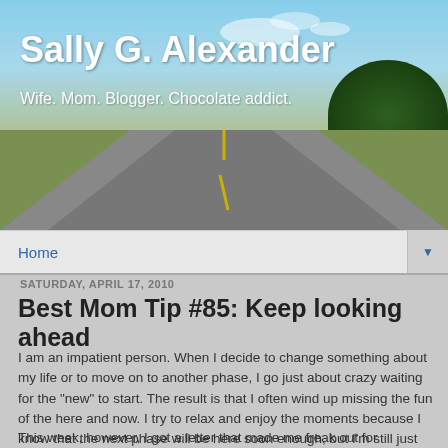[Figure (photo): Blog header banner with a road stretching into the distance under a blue sky with trees on the right side]
Sally G. Alexander
Wife. Mom. Blogger. Chocolate addict.
Home ▼
SATURDAY, APRIL 17, 2010
Best Mom Tip #85: Keep looking ahead
I am an impatient person. When I decide to change something about my life or to move on to another phase, I go just about crazy waiting for the "new" to start. The result is that I often wind up missing the fun of the here and now. I try to relax and enjoy the moments because I know that the next phase will be here soon enough, but I'm still just biding my time.
This week, however, I got a letter that made me freak out for